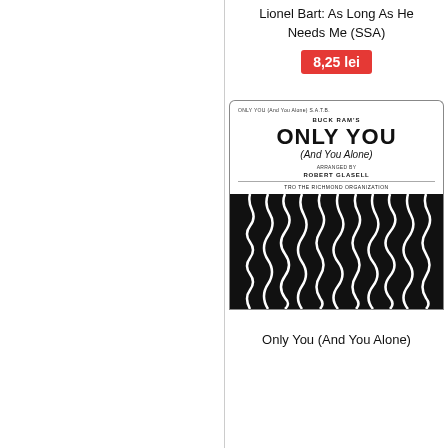Lionel Bart: As Long As He Needs Me (SSA)
8,25 lei
[Figure (illustration): Sheet music cover for 'Only You (And You Alone)' by Buck Ram, arranged by Robert Glasell, published by TRO. The cover has two sections: a white top with bold title text and a black bottom with wavy white line artwork.]
Only You (And You Alone)